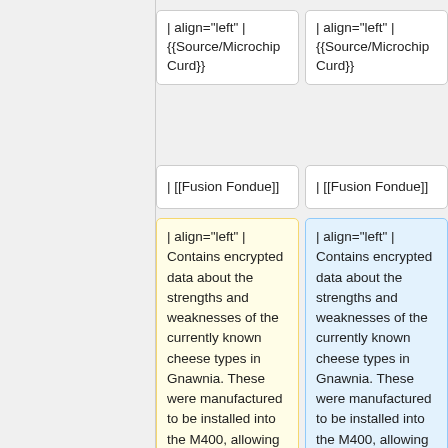| align="left" | {{Source/Microchip Curd}}
| align="left" | {{Source/Microchip Curd}}
| [[Fusion Fondue]]
| [[Fusion Fondue]]
| align="left" | Contains encrypted data about the strengths and weaknesses of the currently known cheese types in Gnawnia. These were manufactured to be installed into the M400, allowing it to translate taste, aroma, attraction and avoidance for types of cheese it encounters.<br/> <br/>Each microchip is programmed to only
| align="left" | Contains encrypted data about the strengths and weaknesses of the currently known cheese types in Gnawnia. These were manufactured to be installed into the M400, allowing it to translate taste, aroma, attraction and avoidance for types of cheese it encounters.<br> <br>Each microchip is programmed to only output data